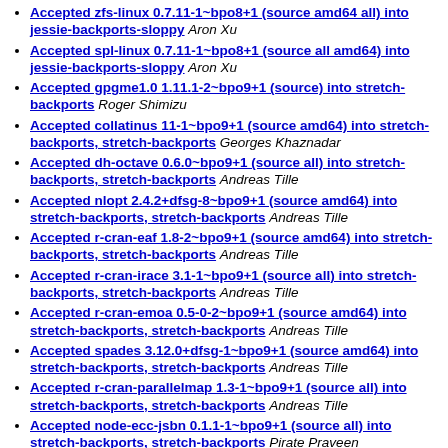Accepted zfs-linux 0.7.11-1~bpo8+1 (source amd64 all) into jessie-backports-sloppy Aron Xu
Accepted spl-linux 0.7.11-1~bpo8+1 (source all amd64) into jessie-backports-sloppy Aron Xu
Accepted gpgme1.0 1.11.1-2~bpo9+1 (source) into stretch-backports Roger Shimizu
Accepted collatinus 11-1~bpo9+1 (source amd64) into stretch-backports, stretch-backports Georges Khaznadar
Accepted dh-octave 0.6.0~bpo9+1 (source all) into stretch-backports, stretch-backports Andreas Tille
Accepted nlopt 2.4.2+dfsg-8~bpo9+1 (source amd64) into stretch-backports, stretch-backports Andreas Tille
Accepted r-cran-eaf 1.8-2~bpo9+1 (source amd64) into stretch-backports, stretch-backports Andreas Tille
Accepted r-cran-irace 3.1-1~bpo9+1 (source all) into stretch-backports, stretch-backports Andreas Tille
Accepted r-cran-emoa 0.5-0-2~bpo9+1 (source amd64) into stretch-backports, stretch-backports Andreas Tille
Accepted spades 3.12.0+dfsg-1~bpo9+1 (source amd64) into stretch-backports, stretch-backports Andreas Tille
Accepted r-cran-parallelmap 1.3-1~bpo9+1 (source all) into stretch-backports, stretch-backports Andreas Tille
Accepted node-ecc-jsbn 0.1.1-1~bpo9+1 (source all) into stretch-backports, stretch-backports Pirate Praveen
Accepted clawsker 1.2.0-1~bpo9+1 (source all) into